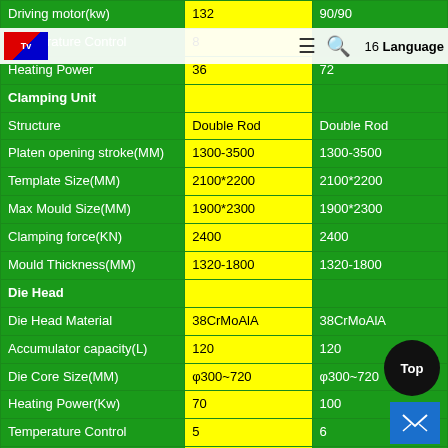| Parameter | Model A | Model B |
| --- | --- | --- |
| Driving motor(kw) | 132 | 90/90 |
| Temperature Control | 8 | 16 |
| Heating Power | 36 | 72 |
| Clamping Unit |  |  |
| Structure | Double Rod | Double Rod |
| Platen opening stroke(MM) | 1300-3500 | 1300-3500 |
| Template Size(MM) | 2100*2200 | 2100*2200 |
| Max Mould Size(MM) | 1900*2300 | 1900*2300 |
| Clamping force(KN) | 2400 | 2400 |
| Mould Thickness(MM) | 1320-1800 | 1320-1800 |
| Die Head |  |  |
| Die Head Material | 38CrMoAlA | 38CrMoAlA |
| Accumulator capacity(L) | 120 | 120 |
| Die Core Size(MM) | φ300~720 | φ300~720 |
| Heating Power(Kw) | 70 | 100 |
| Temperature Control | 5 | 6 |
| Max.Parison Weight | 80kg | 80kg |
| Parison thickness adjust | MOOG | MOOG |
| Hydraulic system |  |  |
| Main Oil Pump motor |  |  |